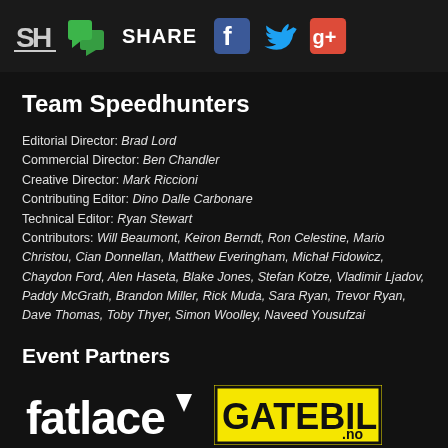SH | chat | SHARE | Facebook | Twitter | Google+
Team Speedhunters
Editorial Director: Brad Lord
Commercial Director: Ben Chandler
Creative Director: Mark Riccioni
Contributing Editor: Dino Dalle Carbonare
Technical Editor: Ryan Stewart
Contributors: Will Beaumont, Keiron Berndt, Ron Celestine, Mario Christou, Cian Donnellan, Matthew Everingham, Michał Fidowicz, Chaydon Ford, Alen Haseta, Blake Jones, Stefan Kotze, Vladimir Ljadov, Paddy McGrath, Brandon Miller, Rick Muda, Sara Ryan, Trevor Ryan, Dave Thomas, Toby Thyer, Simon Woolley, Naveed Yousufzai
Event Partners
[Figure (logo): fatlace logo - white text on dark background with triangle accent]
[Figure (logo): GATEBIL.no logo - black bold text on yellow background with border]